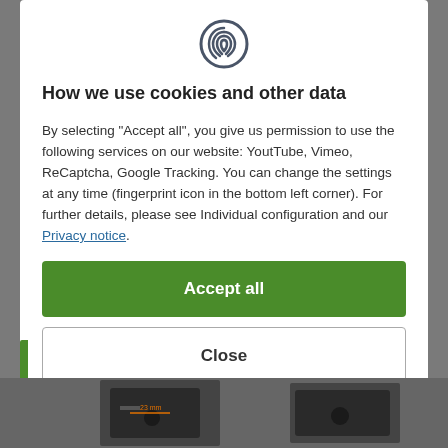[Figure (illustration): Fingerprint icon at top center of cookie consent modal]
How we use cookies and other data
By selecting "Accept all", you give us permission to use the following services on our website: YoutTube, Vimeo, ReCaptcha, Google Tracking. You can change the settings at any time (fingerprint icon in the bottom left corner). For further details, please see Individual configuration and our Privacy notice.
Accept all
Close
Configuration
[Figure (photo): Product photos of mounting hardware/brackets at bottom of page]